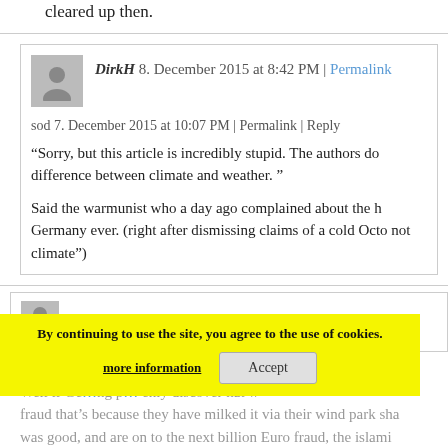cleared up then.
DirkH 8. December 2015 at 8:42 PM | Permalink
sod 7. December 2015 at 10:07 PM | Permalink | Reply
“Sorry, but this article is incredibly stupid. The authors do difference between climate and weather. ”
Said the warmunist who a day ago complained about the h Germany ever. (right after dismissing claims of a cold Octo not climate”)
DirkH 7. December 2015 at 11:02 PM | Permalink
Well if Ge… ng p… enly discover hat w fraud that’s because they have milked it via their wind park sha was good, and are on to the next billion Euro fraud, the islami
By continuing to use the site, you agree to the use of cookies.
more information
Accept